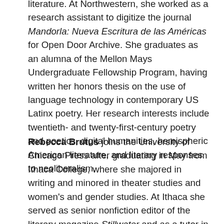literature. At Northwestern, she worked as a research assistant to digitize the journal Mandorla: Nueva Escritura de las Américas for Open Door Archive. She graduates as an alumna of the Mellon Mays Undergraduate Fellowship Program, having written her honors thesis on the use of language technology in contemporary US Latinx poetry. Her research interests include twentieth- and twenty-first-century poetry and poetics, digital humanities, hemispheric American literature, and literary responses to neoliberalism.
Rebecca Brutus joins the University of Chicago Press after graduating in May from Ithaca College, where she majored in writing and minored in theater studies and women's and gender studies. At Ithaca she served as senior nonfiction editor of the literary magazine Stillwater and as a tutor in the Writing Center. She worked for the Ithaca College Library and as a writing and social media intern at Buffalo Street Books. She was also involved with ZAP, a student-run volunteer program that organizaed and...